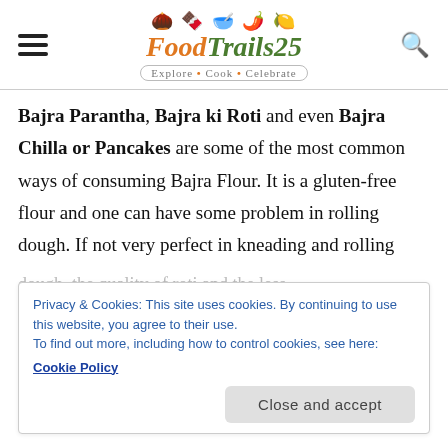FoodTrails25 — Explore • Cook • Celebrate
Bajra Parantha, Bajra ki Roti and even Bajra Chilla or Pancakes are some of the most common ways of consuming Bajra Flour. It is a gluten-free flour and one can have some problem in rolling dough. If not very perfect in kneading and rolling
Privacy & Cookies: This site uses cookies. By continuing to use this website, you agree to their use. To find out more, including how to control cookies, see here: Cookie Policy
palatable for kids as boiled potatoes or whole wheat flour softens it.